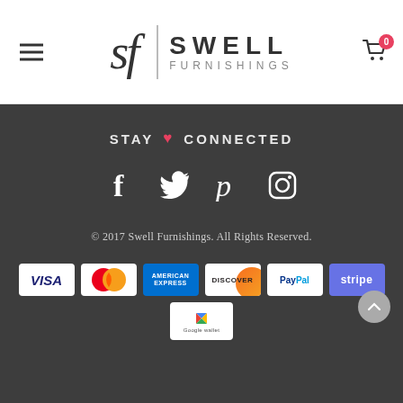[Figure (logo): Swell Furnishings logo with SF monogram and shopping cart icon with 0 badge]
STAY ♥ CONNECTED
[Figure (illustration): Social media icons: Facebook, Twitter, Pinterest, Instagram]
© 2017 Swell Furnishings. All Rights Reserved.
[Figure (illustration): Payment method logos: Visa, MasterCard, American Express, Discover, PayPal, Stripe, Google Wallet]